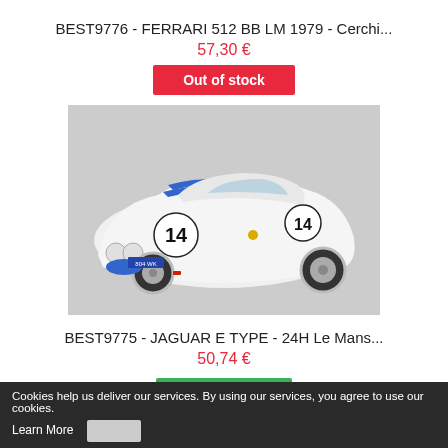BEST9776 - FERRARI 512 BB LM 1979 - Cerchi...
57,30 €
Out of stock
[Figure (photo): White Jaguar E-Type race car model #14 with blue stripes, license plate 804 WK, on grey background]
BEST9775 - JAGUAR E TYPE - 24H Le Mans...
50,74 €
Disponibile
Cookies help us deliver our services. By using our services, you agree to use our cookies. Learn More